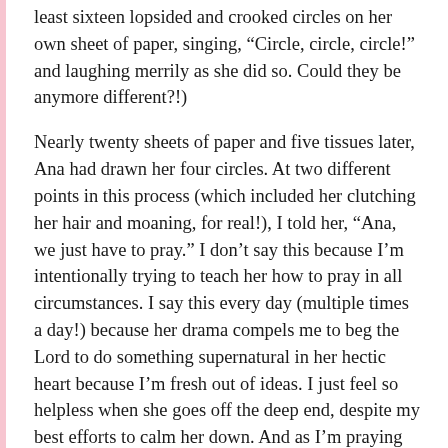least sixteen lopsided and crooked circles on her own sheet of paper, singing, “Circle, circle, circle!” and laughing merrily as she did so. Could they be anymore different?!)
Nearly twenty sheets of paper and five tissues later, Ana had drawn her four circles. At two different points in this process (which included her clutching her hair and moaning, for real!), I told her, “Ana, we just have to pray.” I don’t say this because I’m intentionally trying to teach her how to pray in all circumstances. I say this every day (multiple times a day!) because her drama compels me to beg the Lord to do something supernatural in her hectic heart because I’m fresh out of ideas. I just feel so helpless when she goes off the deep end, despite my best efforts to calm her down. And as I’m praying with her and she’s sniffling and shaking, I’m counting on the Spirit to pray in ways I don’t even know to pray.
But I’m encouraged nonetheless. Today was fairly rotten